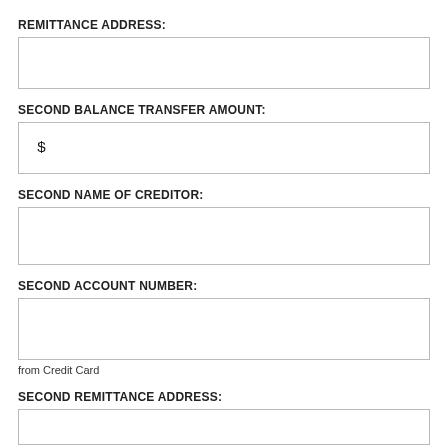REMITTANCE ADDRESS:
SECOND BALANCE TRANSFER AMOUNT:
$
SECOND NAME OF CREDITOR:
SECOND ACCOUNT NUMBER:
from Credit Card
SECOND REMITTANCE ADDRESS: